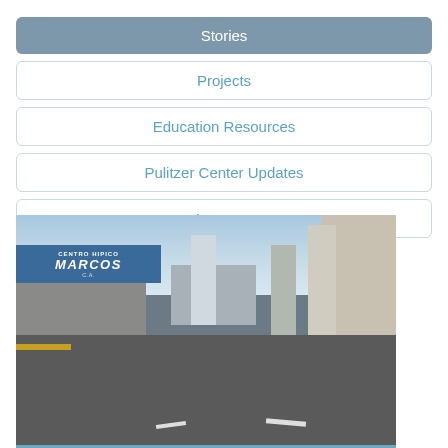Stories
Projects
Education Resources
Pulitzer Center Updates
Lessons
[Figure (photo): Street-level view of an urban road flanked by commercial buildings. On the left is a storefront with a sign reading 'MARCOS' in large italic letters. In the background are tall city buildings. The road is empty with arrow road markings visible.]